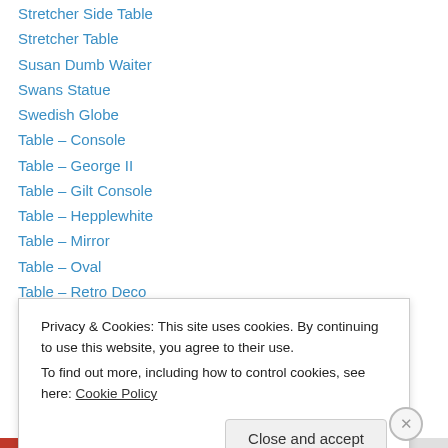Stretcher Side Table
Stretcher Table
Susan Dumb Waiter
Swans Statue
Swedish Globe
Table – Console
Table – George II
Table – Gilt Console
Table – Hepplewhite
Table – Mirror
Table – Oval
Table – Retro Deco
Table – Rococo
Privacy & Cookies: This site uses cookies. By continuing to use this website, you agree to their use.
To find out more, including how to control cookies, see here: Cookie Policy